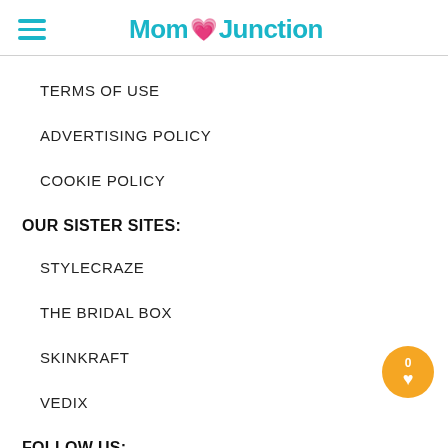MomJunction
TERMS OF USE
ADVERTISING POLICY
COOKIE POLICY
OUR SISTER SITES:
STYLECRAZE
THE BRIDAL BOX
SKINKRAFT
VEDIX
FOLLOW US: